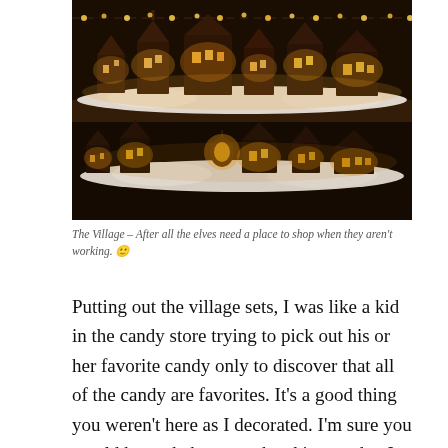[Figure (photo): A display of miniature illuminated Christmas village houses and buildings arranged on two levels of a dark wooden shelf, with white cotton snow underneath, warmly lit with golden lights in a dimly lit room.]
The Village – After all the elves need a place to shop when they aren't working. 🙂
Putting out the village sets, I was like a kid in the candy store trying to pick out his or her favorite candy only to discover that all of the candy are favorites. It's a good thing you weren't here as I decorated. I'm sure you would have shaken your head in wonder. I was talking to the villages telling each piece